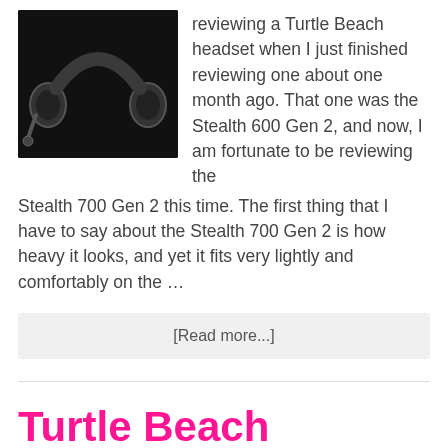[Figure (photo): Black gaming headset (Turtle Beach Stealth 700 Gen 2) on a dark background, studio product photo]
reviewing a Turtle Beach headset when I just finished reviewing one about one month ago. That one was the Stealth 600 Gen 2, and now, I am fortunate to be reviewing the Stealth 700 Gen 2 this time. The first thing that I have to say about the Stealth 700 Gen 2 is how heavy it looks, and yet it fits very lightly and comfortably on the …
[Read more...]
Turtle Beach Review, Dudes! Stealth 600 Gen